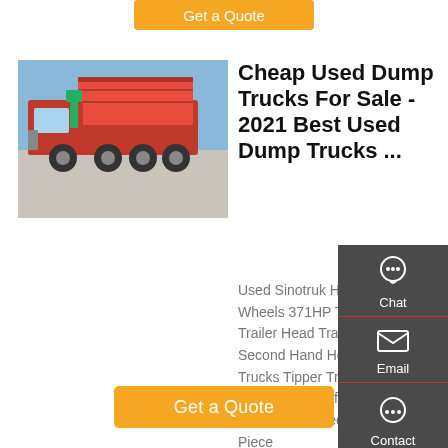[Figure (other): Orange 'Get a Quote' button at top]
[Figure (photo): Red dump truck (Sinotruk HOWO) parked outdoors]
Cheap Used Dump Trucks For Sale - 2021 Best Used Dump Trucks ...
Used Sinotruk HOWO 10 Wheels 371HP Tractor Truck Trailer Head Tractor Head Second Hand Heavy Duty Trucks Tipper Truck 6X4 Dump Truck Hot Sale for Africa US $ 5500 9500 / Piece Min. Order: 1 Piece
[Figure (other): Orange 'Get a Quote' button at bottom]
[Figure (other): Right sidebar with Chat, Email, Contact, Top icons on dark grey background]